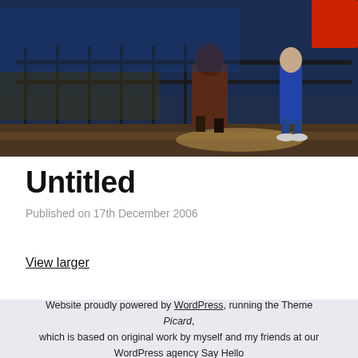[Figure (photo): Street scene photograph showing pedestrians walking near metal railings at night or dusk, with blue lighting in the background. Two people visible, one in a dark coat and one in jeans.]
Untitled
Published on 17th December 2006
View larger
Website proudly powered by WordPress, running the Theme Picard, which is based on original work by myself and my friends at our WordPress agency Say Hello